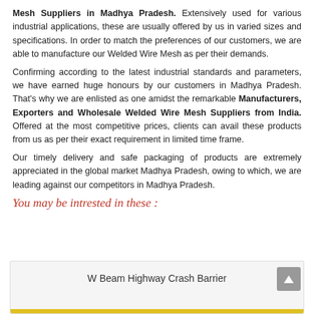Mesh Suppliers in Madhya Pradesh. Extensively used for various industrial applications, these are usually offered by us in varied sizes and specifications. In order to match the preferences of our customers, we are able to manufacture our Welded Wire Mesh as per their demands. Confirming according to the latest industrial standards and parameters, we have earned huge honours by our customers in Madhya Pradesh. That's why we are enlisted as one amidst the remarkable Manufacturers, Exporters and Wholesale Welded Wire Mesh Suppliers from India. Offered at the most competitive prices, clients can avail these products from us as per their exact requirement in limited time frame. Our timely delivery and safe packaging of products are extremely appreciated in the global market Madhya Pradesh, owing to which, we are leading against our competitors in Madhya Pradesh.
You may be intrested in these :
W Beam Highway Crash Barrier